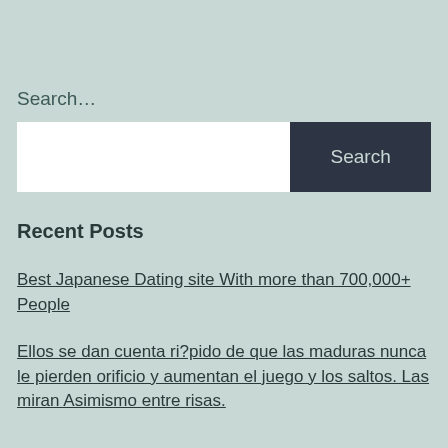Search…
[Figure (screenshot): Search input box with white text field on the left and a dark navy 'Search' button on the right]
Recent Posts
Best Japanese Dating site With more than 700,000+ People
Ellos se dan cuenta ri?pido de que las maduras nunca le pierden orificio y aumentan el juego y los saltos. Las miran Asimismo entre risas.